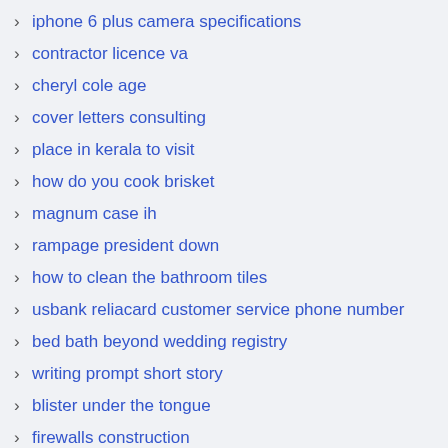iphone 6 plus camera specifications
contractor licence va
cheryl cole age
cover letters consulting
place in kerala to visit
how do you cook brisket
magnum case ih
rampage president down
how to clean the bathroom tiles
usbank reliacard customer service phone number
bed bath beyond wedding registry
writing prompt short story
blister under the tongue
firewalls construction
Trending Searches
disney virtual run